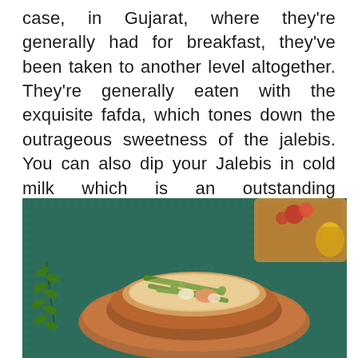case, in Gujarat, where they're generally had for breakfast, they've been taken to another level altogether. They're generally eaten with the exquisite fafda, which tones down the outrageous sweetness of the jalebis. You can also dip your Jalebis in cold milk which is an outstanding combination.
[Figure (photo): A clay/terracotta bowl filled with a vegetable dish (likely undhiyu or mixed vegetable curry with drumsticks, green beans, and other vegetables), placed on a dark teal/green textured cloth. A curry leaf sprig is visible on the left. A wooden tray with red flowers and a small golden vessel is partially visible in the upper right corner.]